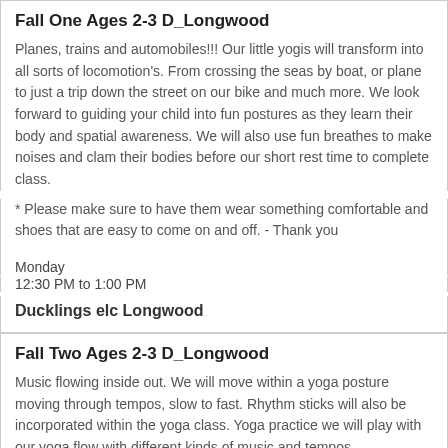Fall One Ages 2-3 D_Longwood
Planes, trains and automobiles!!! Our little yogis will transform into all sorts of locomotion's. From crossing the seas by boat, or plane to just a trip down the street on our bike and much more. We look forward to guiding your child into fun postures as they learn their body and spatial awareness. We will also use fun breathes to make noises and clam their bodies before our short rest time to complete class.
* Please make sure to have them wear something comfortable and shoes that are easy to come on and off. - Thank you
Monday
12:30 PM to 1:00 PM
Ducklings elc Longwood
Fall Two Ages 2-3 D_Longwood
Music flowing inside out. We will move within a yoga posture moving through tempos, slow to fast. Rhythm sticks will also be incorporated within the yoga class. Yoga practice we will play with our yoga flow with different kinds of music and tempos.
*No classes will be held the week of November 21*
* Please make sure to have them wear something comfortable and shoes